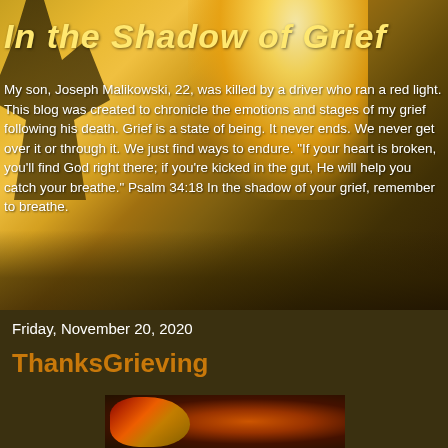[Figure (photo): Sunlit outdoor scene with trees and golden light, used as blog header background]
In the Shadow of Grief
My son, Joseph Malikowski, 22, was killed by a driver who ran a red light. This blog was created to chronicle the emotions and stages of my grief following his death. Grief is a state of being. It never ends. We never get over it or through it. We just find ways to endure. "If your heart is broken, you'll find God right there; if you're kicked in the gut, He will help you catch your breathe." Psalm 34:18 In the shadow of your grief, remember to breathe.
Friday, November 20, 2020
ThanksGrieving
[Figure (photo): Close-up photo of autumn flowers and candles in warm orange and red tones]